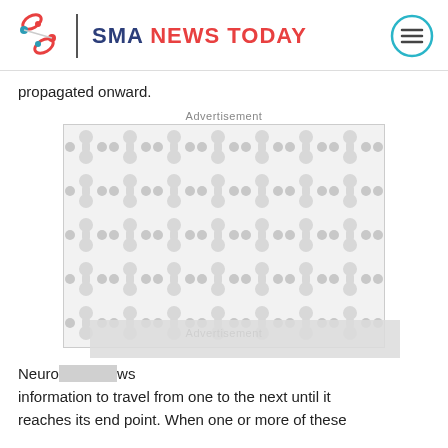SMA NEWS TODAY
propagated onward.
Advertisement
[Figure (other): Advertisement placeholder box with repeating molecule/DNA pattern in light grey on white background]
Advertisement
Neurons allow information to travel from one to the next until it reaches its end point. When one or more of these